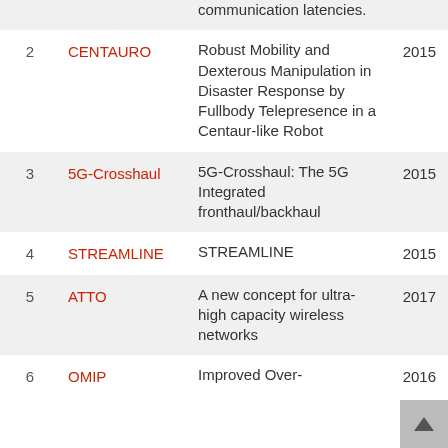| # | Name | Description | Year |
| --- | --- | --- | --- |
|  |  | communication latencies. |  |
| 2 | CENTAURO | Robust Mobility and Dexterous Manipulation in Disaster Response by Fullbody Telepresence in a Centaur-like Robot | 2015 |
| 3 | 5G-Crosshaul | 5G-Crosshaul: The 5G Integrated fronthaul/backhaul | 2015 |
| 4 | STREAMLINE | STREAMLINE | 2015 |
| 5 | ATTO | A new concept for ultra-high capacity wireless networks | 2017 |
| 6 | OMIP | Improved Over- | 2016 |